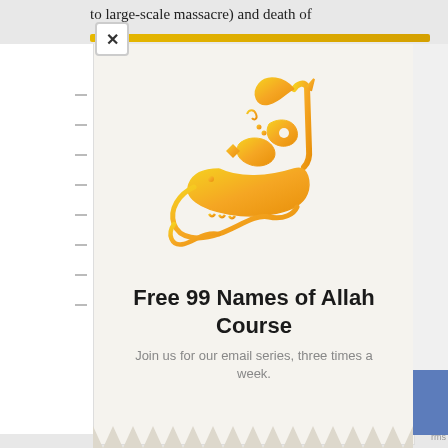to large-scale massacre) and death of
[Figure (illustration): Arabic calligraphy in gold/orange gradient spelling 'Al-Rahman' (The Most Merciful), one of the 99 names of Allah]
Free 99 Names of Allah Course
Join us for our email series, three times a week.